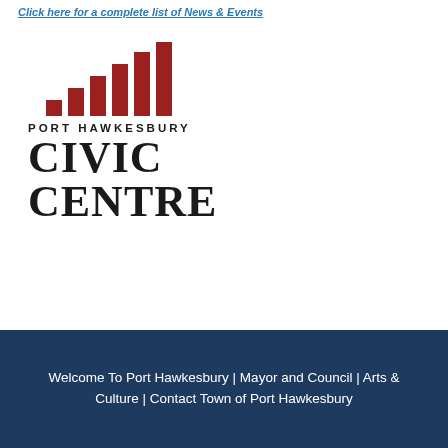Click here for a complete list of News & Events
[Figure (logo): Port Hawkesbury Civic Centre logo with red bar chart icon above the text PORT HAWKESBURY CIVIC CENTRE]
Welcome To Port Hawkesbury | Mayor and Council | Arts & Culture | Contact Town of Port Hawkesbury